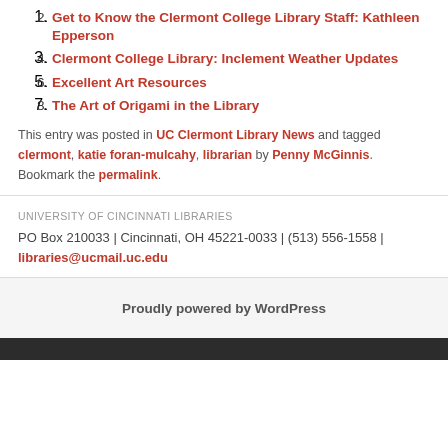Get to Know the Clermont College Library Staff: Kathleen Epperson
Clermont College Library: Inclement Weather Updates
Excellent Art Resources
The Art of Origami in the Library
This entry was posted in UC Clermont Library News and tagged clermont, katie foran-mulcahy, librarian by Penny McGinnis. Bookmark the permalink.
UNIVERSITY OF CINCINNATI LIBRARIES
PO Box 210033 | Cincinnati, OH 45221-0033 | (513) 556-1558 | libraries@ucmail.uc.edu
Proudly powered by WordPress